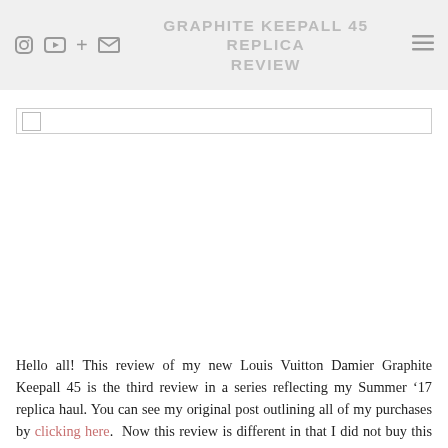GRAPHITE KEEPALL 45 REPLICA REVIEW
[Figure (screenshot): Search bar / input field with a small checkbox on the left]
[Figure (photo): Large blank/white image placeholder area for a Louis Vuitton bag photo]
Hello all! This review of my new Louis Vuitton Damier Graphite Keepall 45 is the third review in a series reflecting my Summer ’17 replica haul. You can see my original post outlining all of my purchases by clicking here. Now this review is different in that I did not buy this bag to use